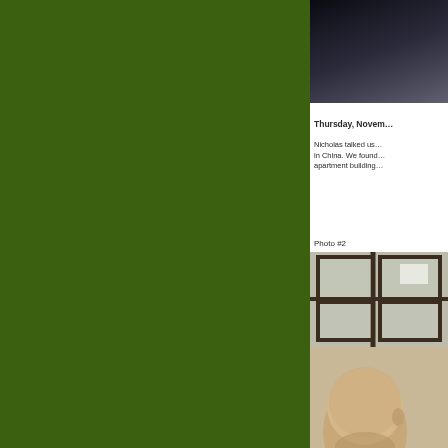[Figure (photo): Dark colored photo, partially visible on the right side — appears to show a dark surface or object]
Thursday, Novem…
Nicholas talked us… in China. We found… apartment building…
Photo #2
[Figure (photo): Photo showing a bald person in front of windows with dark frames in a building interior]